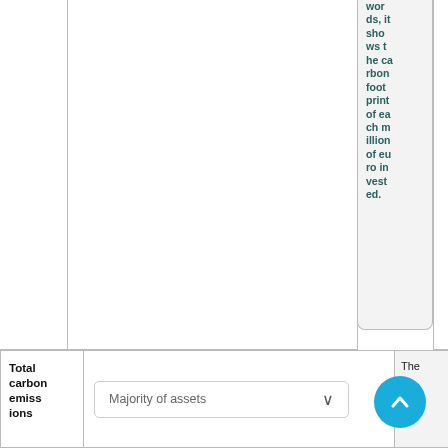words, it shows the carbon footprint of each million of euro invested.
|  | Majority of assets | The | t CO |
| --- | --- | --- | --- |
| Total carbon emissions | Majority of assets | The | t CO |